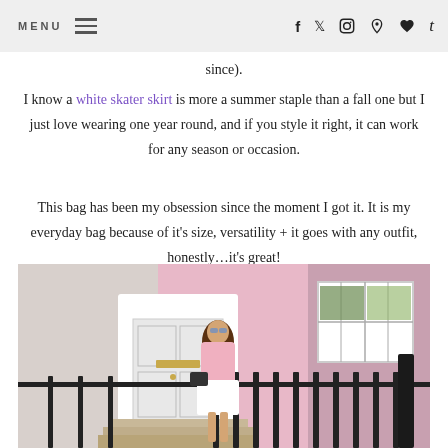MENU  [hamburger icon]  f  t  [instagram]  [pinterest]  [heart]  t
since).
I know a white skater skirt is more a summer staple than a fall one but I just love wearing one year round, and if you style it right, it can work for any season or occasion.
This bag has been my obsession since the moment I got it. It is my everyday bag because of it's size, versatility + it goes with any outfit, honestly…it's great!
[Figure (photo): Woman in pink oversized sweater and white skater skirt holding a dark bag, standing in front of a pink brick building with white door and black iron fence in Notting Hill, London.]